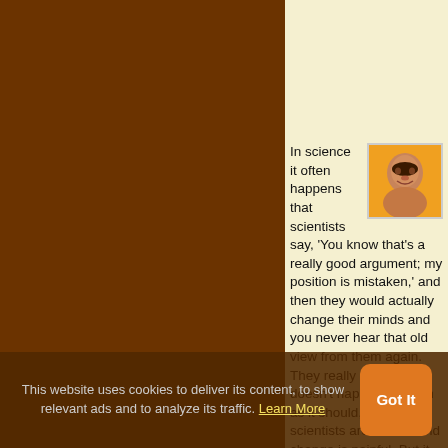[Figure (screenshot): Website banner with teal background showing a Federation for Internet logo (red flag icon) and social media follow buttons for Facebook and Twitter]
In science it often happens that scientists say, 'You know that's a really good argument; my position is mistaken,' and then they would actually change their minds and you never hear that old view from them again. They really do it. It doesn't happen as often as it should, because scientists are human and change is painful. But it happens every day. I cannot recall the last time something like that
This website uses cookies to deliver its content, to show relevant ads and to analyze its traffic. Learn More